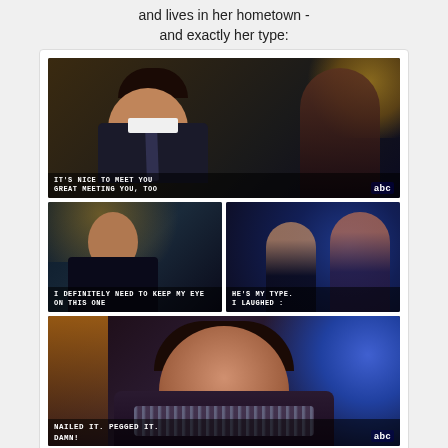and lives in her hometown -
and exactly her type:
[Figure (screenshot): TV screenshot from ABC show - man in suit smiling with subtitle IT'S NICE TO MEET YOU / GREAT MEETING YOU, TOO with ABC logo]
[Figure (screenshot): TV screenshot - man's face with subtitle I DEFINITELY NEED TO KEEP MY EYE ON THIS ONE]
[Figure (screenshot): TV screenshot - two people silhouetted with subtitle HE'S MY TYPE. I LAUGHED :]
[Figure (screenshot): TV screenshot - woman smiling in sparkly dress with subtitle NAILED IT. PEGGED IT. DAMN! with ABC logo]